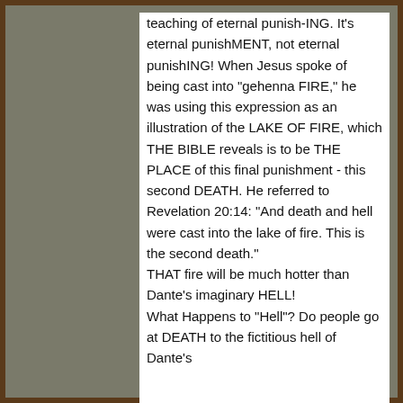teaching of eternal punish-ING. It's eternal punishMENT, not eternal punishING! When Jesus spoke of being cast into "gehenna FIRE," he was using this expression as an illustration of the LAKE OF FIRE, which THE BIBLE reveals is to be THE PLACE of this final punishment - this second DEATH. He referred to Revelation 20:14: "And death and hell were cast into the lake of fire. This is the second death." THAT fire will be much hotter than Dante's imaginary HELL! What Happens to "Hell"? Do people go at DEATH to the fictitious hell of Dante's